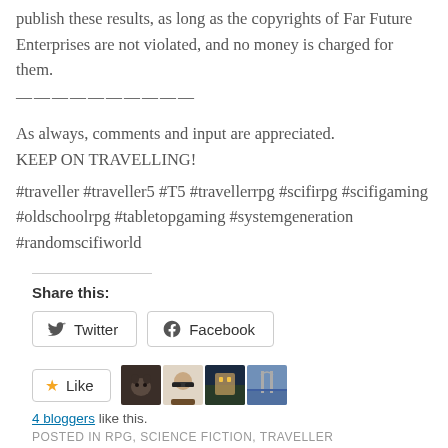publish these results, as long as the copyrights of Far Future Enterprises are not violated, and no money is charged for them.
——————————
As always, comments and input are appreciated. KEEP ON TRAVELLING!
#traveller #traveller5 #T5 #travellerrpg #scifirpg #scifigaming #oldschoolrpg #tabletopgaming #systemgeneration #randomscifiworld
Share this:
Twitter   Facebook
Like   [avatars]   4 bloggers like this.
POSTED IN RPG, SCIENCE FICTION, TRAVELLER